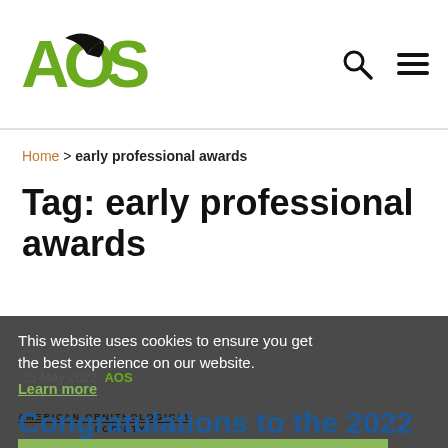[Figure (logo): AOS American Ornithological Society logo with green letters and bird silhouette]
Home > early professional awards
Tag: early professional awards
[Figure (screenshot): Cookie consent banner overlay on article card with AOS watermark logo, Learn more link, Got it button, date 25 May 2022, AOS author link, and partial Congratulations heading]
25 May 2022  AOS
Congratulations to the 2022